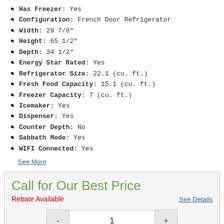Has Freezer: Yes
Configuration: French Door Refrigerator
Width: 29 7/8"
Height: 65 1/2"
Depth: 34 1/2"
Energy Star Rated: Yes
Refrigerator Size: 22.1 (cu. ft.)
Fresh Food Capacity: 15.1 (cu. ft.)
Freezer Capacity: 7 (cu. ft.)
Icemaker: Yes
Dispenser: Yes
Counter Depth: No
Sabbath Mode: Yes
WIFI Connected: Yes
See More
Call for Our Best Price
Rebate Available
See Details
1
Request Quote